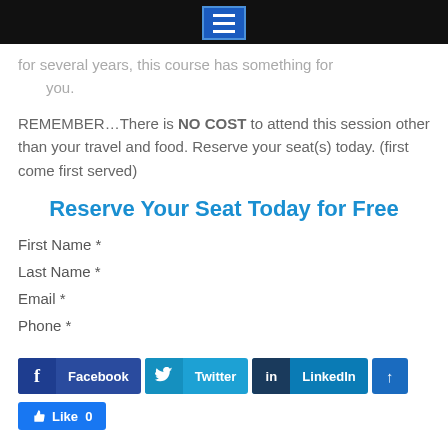[Navigation menu bar with hamburger icon]
for several years, this course has something for you.
REMEMBER…There is NO COST to attend this session other than your travel and food. Reserve your seat(s) today. (first come first served)
Reserve Your Seat Today for Free
First Name *
Last Name *
Email *
Phone *
[Figure (screenshot): Social sharing buttons: Facebook, Twitter, LinkedIn, and an up-arrow share button, plus a Facebook Like button showing 0 likes]